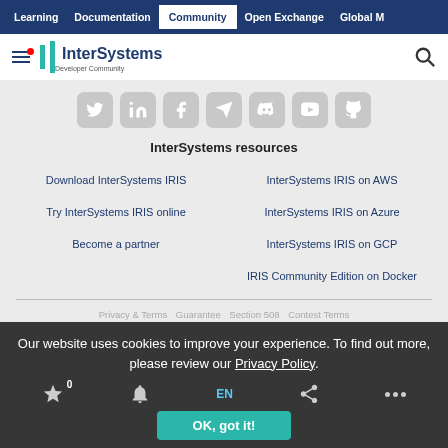Learning | Documentation | Community | Open Exchange | Global M
[Figure (logo): InterSystems Developer Community logo with hamburger menu and search icon]
[Figure (infographic): Social media icons row: Twitter, LinkedIn, Facebook, Telegram, Discord, YouTube, GitHub]
InterSystems resources
Download InterSystems IRIS
InterSystems IRIS on AWS
Try InterSystems IRIS online
InterSystems IRIS on Azure
Become a partner
InterSystems IRIS on GCP
IRIS Community Edition on Docker
Privacy & Terms   Guarantee   Section 508   Contest Terms
Our website uses cookies to improve your experience. To find out more, please review our Privacy Policy.